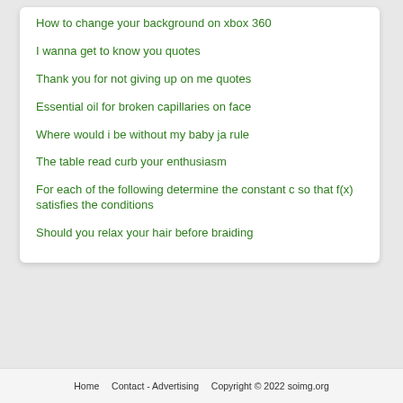How to change your background on xbox 360
I wanna get to know you quotes
Thank you for not giving up on me quotes
Essential oil for broken capillaries on face
Where would i be without my baby ja rule
The table read curb your enthusiasm
For each of the following determine the constant c so that f(x) satisfies the conditions
Should you relax your hair before braiding
Home   Contact - Advertising   Copyright © 2022 soimg.org